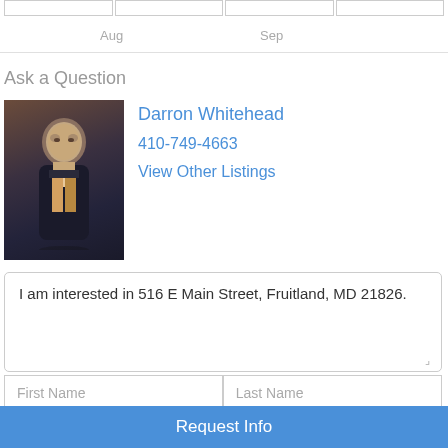[Figure (other): Top portion of a calendar/chart with Aug and Sep axis labels and grid cells visible at top]
Ask a Question
[Figure (photo): Headshot photo of Darron Whitehead, a man in a dark suit]
Darron Whitehead
410-749-4663
View Other Listings
I am interested in 516 E Main Street, Fruitland, MD 21826.
First Name
Last Name
Phone
email@example.com
Request Info